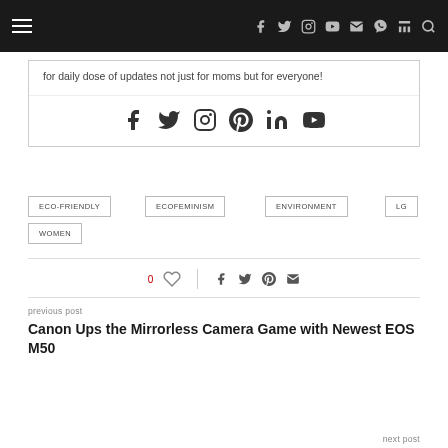Navigation bar with hamburger menu and social icons
for daily dose of updates not just for moms but for everyone!
[Figure (infographic): Social media icons row: Facebook, Twitter, Instagram, Pinterest, LinkedIn, YouTube]
ECO-FRIENDLY
ECOFEMINISM
ENVIRONMENT
LG
WOMEN
0 ♡  |  share icons
previous post
Canon Ups the Mirrorless Camera Game with Newest EOS M50
next post